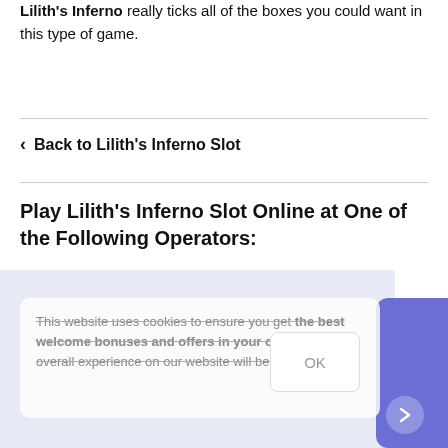Lilith's Inferno really ticks all of the boxes you could want in this type of game.
< Back to Lilith's Inferno Slot
Play Lilith's Inferno Slot Online at One of the Following Operators:
This website uses cookies to ensure you get the best welcome bonuses and offers in your currency. Your overall experience on our website will be better too.